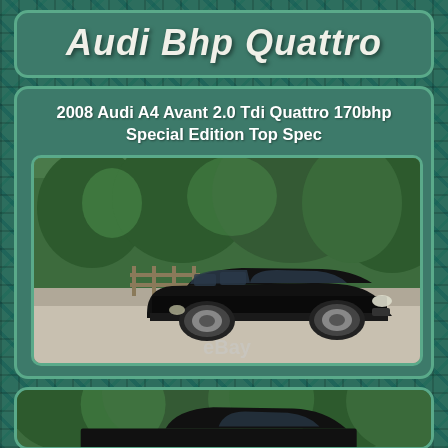Audi Bhp Quattro
2008 Audi A4 Avant 2.0 Tdi Quattro 170bhp Special Edition Top Spec
[Figure (photo): Black Audi A4 Avant estate car parked on a road with trees and a wooden fence in the background. eBay watermark visible.]
[Figure (photo): Partial view of another car photo, showing trees in background, bottom of page.]